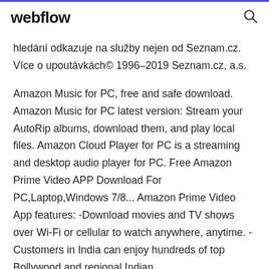webflow
hledání odkazuje na služby nejen od Seznam.cz. Více o upoutávkách© 1996–2019 Seznam.cz, a.s.
Amazon Music for PC, free and safe download. Amazon Music for PC latest version: Stream your AutoRip albums, download them, and play local files. Amazon Cloud Player for PC is a streaming and desktop audio player for PC. Free Amazon Prime Video APP Download For PC,Laptop,Windows 7/8... Amazon Prime Video App features: -Download movies and TV shows over Wi-Fi or cellular to watch anywhere, anytime. -Customers in India can enjoy hundreds of top Bollywood and regional Indian